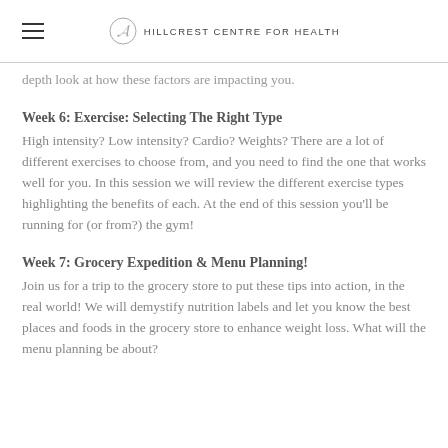HILLCREST CENTRE FOR HEALTH
depth look at how these factors are impacting you.
Week 6: Exercise: Selecting The Right Type
High intensity? Low intensity? Cardio? Weights?  There are a lot of different exercises to choose from, and you need to find the one that works well for you.  In this session we will review the different exercise types highlighting the benefits of each.  At the end of this session you’ll be running for (or from?) the gym!
Week 7: Grocery Expedition & Menu Planning!
Join us for a trip to the grocery store to put these tips into action, in the real world! We will demystify nutrition labels and let you know the best places and foods in the grocery store to enhance weight loss. What will the menu planning be about?